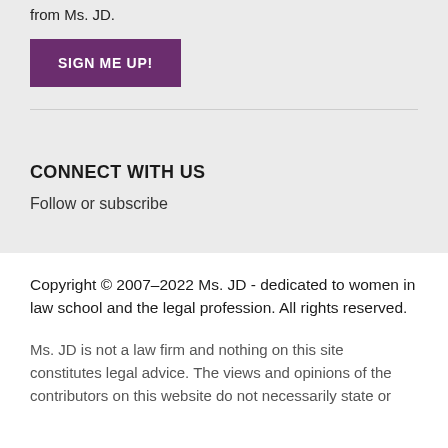from Ms. JD.
SIGN ME UP!
CONNECT WITH US
Follow or subscribe
Copyright © 2007–2022 Ms. JD - dedicated to women in law school and the legal profession. All rights reserved.
Ms. JD is not a law firm and nothing on this site constitutes legal advice. The views and opinions of the contributors on this website do not necessarily state or